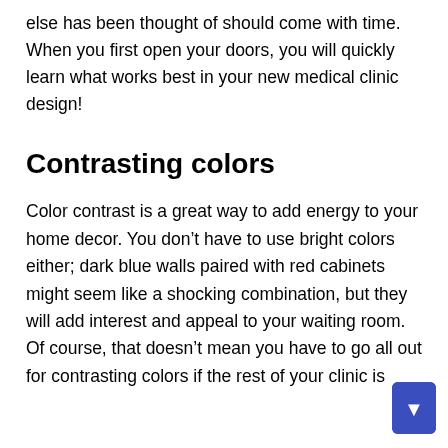else has been thought of should come with time. When you first open your doors, you will quickly learn what works best in your new medical clinic design!
Contrasting colors
Color contrast is a great way to add energy to your home decor. You don't have to use bright colors either; dark blue walls paired with red cabinets might seem like a shocking combination, but they will add interest and appeal to your waiting room. Of course, that doesn't mean you have to go all out for contrasting colors if the rest of your clinic is